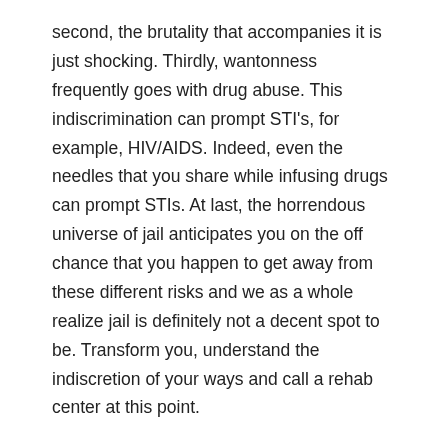second, the brutality that accompanies it is just shocking. Thirdly, wantonness frequently goes with drug abuse. This indiscrimination can prompt STI's, for example, HIV/AIDS. Indeed, even the needles that you share while infusing drugs can prompt STIs. At last, the horrendous universe of jail anticipates you on the off chance that you happen to get away from these different risks and we as a whole realize jail is definitely not a decent spot to be. Transform you, understand the indiscretion of your ways and call a rehab center at this point.
Backslide is a typical issue for all recouping drug addicts. It, for the most part, comes to fruition by an abrupt episode of bitterness or desire to get another fix. It is on these occasions that you need a rehab center. This center will guarantees that you have the best sort of help both on and off the center. They will normally beware of you and assess your advancement. Rehab centers may likewise attempt to find you a line of work with the goal that you don't lie inactive and begin contemplating drugs. These centers will likewise